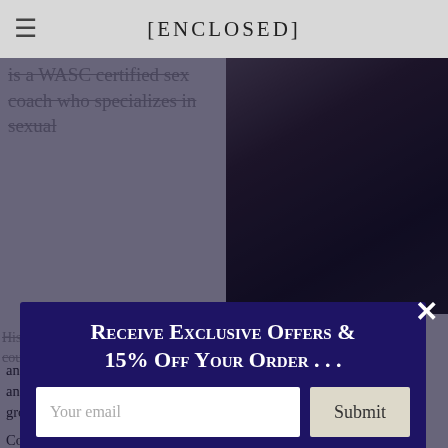[ENCLOSED]
is a WASC certified sex coach who specializes in sexual
[Figure (photo): Dark portrait photo of a man against dark background]
Receive Exclusive Offers & 15% Off Your Order . . .
Your email
Submit
His work includes individuals, couples, and the polyamorous community, as well as the LGBT and kink communities (GSRD groups). Lex facilitates groups, workshops, and works with clients worldwide.
Coach Lex publishes a weekly blog on his website